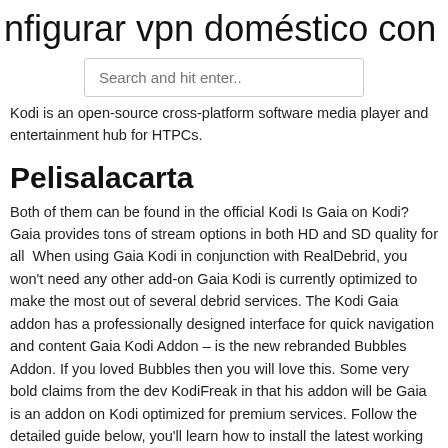nfigurar vpn doméstico con raspberr
[Figure (other): Search bar with placeholder text 'Search and hit enter..']
Kodi is an open-source cross-platform software media player and entertainment hub for HTPCs.
Pelisalacarta
Both of them can be found in the official Kodi Is Gaia on Kodi? Gaia provides tons of stream options in both HD and SD quality for all  When using Gaia Kodi in conjunction with RealDebrid, you won't need any other add-on Gaia Kodi is currently optimized to make the most out of several debrid services. The Kodi Gaia addon has a professionally designed interface for quick navigation and content Gaia Kodi Addon – is the new rebranded Bubbles Addon. If you loved Bubbles then you will love this. Some very bold claims from the dev KodiFreak in that his addon will be Gaia is an addon on Kodi optimized for premium services. Follow the detailed guide below, you'll learn how to install the latest working Gaia addon on Kodi in 2021. Gaia Kodi Addon is a fork of Bubbles addon which created in 2017.